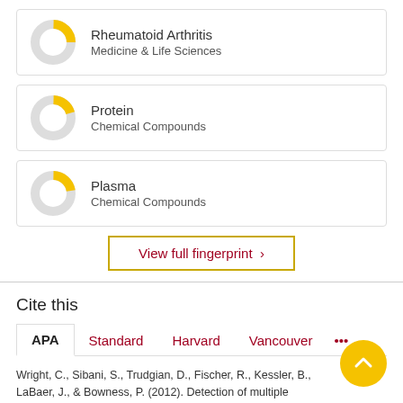[Figure (donut-chart): Donut chart showing partial fill (approx 25%) in yellow for Rheumatoid Arthritis]
Rheumatoid Arthritis
Medicine & Life Sciences
[Figure (donut-chart): Donut chart showing partial fill (approx 20%) in yellow for Protein]
Protein
Chemical Compounds
[Figure (donut-chart): Donut chart showing partial fill (approx 22%) in yellow for Plasma]
Plasma
Chemical Compounds
View full fingerprint ›
Cite this
APA   Standard   Harvard   Vancouver   •••
Wright, C., Sibani, S., Trudgian, D., Fischer, R., Kessler, B., LaBaer, J., & Bowness, P. (2012). Detection of multiple